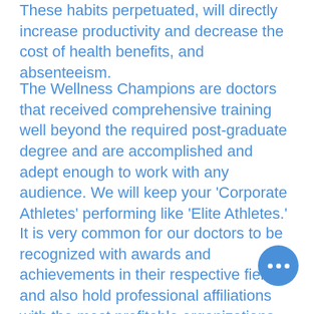These habits perpetuated, will directly increase productivity and decrease the cost of health benefits, and absenteeism.
The Wellness Champions are doctors that received comprehensive training well beyond the required post-graduate degree and are accomplished and adept enough to work with any audience. We will keep your 'Corporate Athletes' performing like 'Elite Athletes.'
It is very common for our doctors to be recognized with awards and achievements in their respective fields, and also hold professional affiliations with the most profitable organizations world-wide. You will be utilizing one of the key elements to success when you work with a Wellness Champion. These are...